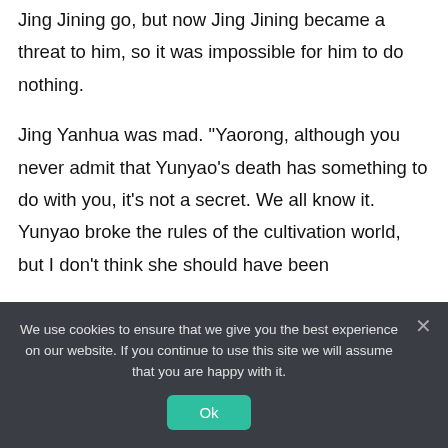Jing Jining go, but now Jing Jining became a threat to him, so it was impossible for him to do nothing.
Jing Yanhua was mad. "Yaorong, although you never admit that Yunyao’s death has something to do with you, it’s not a secret. We all know it. Yunyao broke the rules of the cultivation world, but I don’t think she should have been
We use cookies to ensure that we give you the best experience on our website. If you continue to use this site we will assume that you are happy with it.